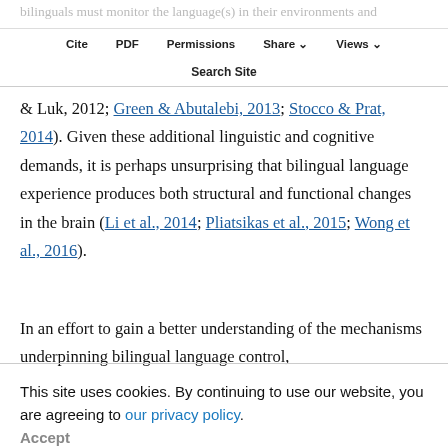bilinguals must monitor the language(s) in their environments and dynamically select the intended target language, which places additional demands on nonlinguistic executive functions (e.g., Bialystok, Craik, & Luk, 2012; Green & Abutalebi, 2013; Stocco & Prat, 2014). Given these additional linguistic and cognitive demands, it is perhaps unsurprising that bilingual language experience produces both structural and functional changes in the brain (Li et al., 2014; Pliatsikas et al., 2015; Wong et al., 2016).
In an effort to gain a better understanding of the mechanisms underpinning bilingual language control,
an increasing amount of research has examined the neural impact of various facets of bilingual language experience (e.g., DeLuca, Rothman, Bialystok, & Pliatsikas, 2019; Green & Abutalebi, 2013; Gullifer et al.
This site uses cookies. By continuing to use our website, you are agreeing to our privacy policy. Accept